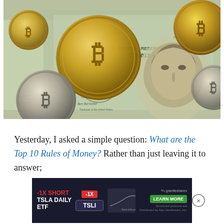[Figure (photo): Photo of gold and silver Bitcoin coins scattered over US $100 dollar bills showing Benjamin Franklin's portrait and Federal Reserve Note markings including serial number 1799013A]
Yesterday, I asked a simple question: What are the Top 10 Rules of Money? Rather than just leav... [continues] ...er;